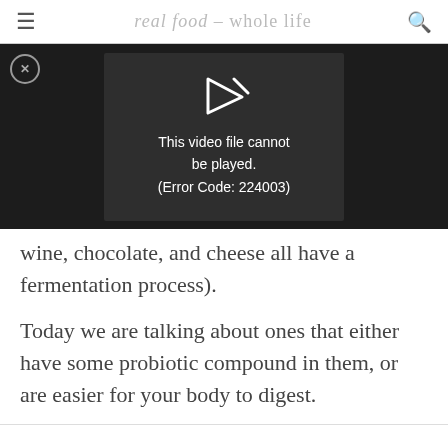real food - whole life
[Figure (screenshot): Video player error: 'This video file cannot be played. (Error Code: 224003)' shown on dark background with play icon and close button]
wine, chocolate, and cheese all have a fermentation process).
Today we are talking about ones that either have some probiotic compound in them, or are easier for your body to digest.